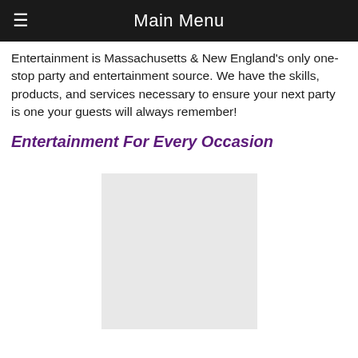Main Menu
Entertainment is Massachusetts & New England's only one-stop party and entertainment source. We have the skills, products, and services necessary to ensure your next party is one your guests will always remember!
Entertainment For Every Occasion
[Figure (photo): Light gray rectangular image placeholder, centered below the section header]